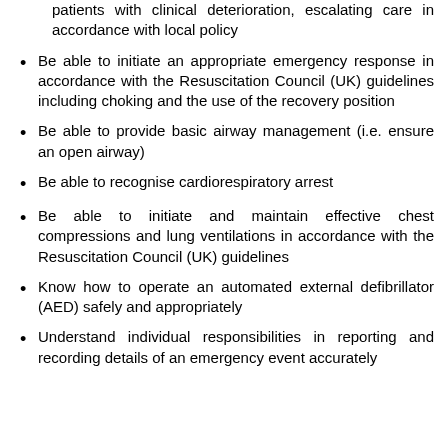patients with clinical deterioration, escalating care in accordance with local policy
Be able to initiate an appropriate emergency response in accordance with the Resuscitation Council (UK) guidelines including choking and the use of the recovery position
Be able to provide basic airway management (i.e. ensure an open airway)
Be able to recognise cardiorespiratory arrest
Be able to initiate and maintain effective chest compressions and lung ventilations in accordance with the Resuscitation Council (UK) guidelines
Know how to operate an automated external defibrillator (AED) safely and appropriately
Understand individual responsibilities in reporting and recording details of an emergency event accurately